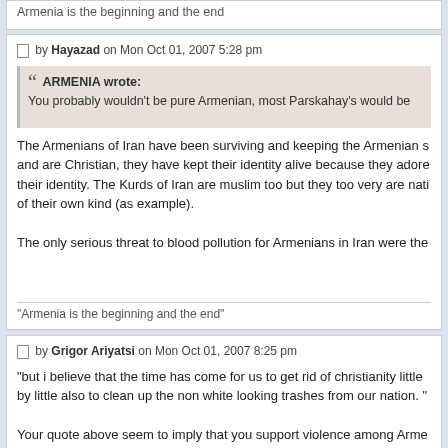Armenia is the beginning and the end
Post by Hayazad on Mon Oct 01, 2007 5:28 pm
ARMENIA wrote: You probably wouldn't be pure Armenian, most Parskahay's would be
The Armenians of Iran have been surviving and keeping the Armenian s and are Christian, they have kept their identity alive because they adore their identity. The Kurds of Iran are muslim too but they too very are nati of their own kind (as example).

The only serious threat to blood pollution for Armenians in Iran were the
"Armenia is the beginning and the end"
Post by Grigor Ariyatsi on Mon Oct 01, 2007 8:25 pm
"but i believe that the time has come for us to get rid of christianity little by little also to clean up the non white looking trashes from our nation. "
Your quote above seem to imply that you support violence among Arme Christians and non-Christians, as well well as between light skin Armeni similar to Hutus and Tutsis in Rwanda, and to a certain extent betw